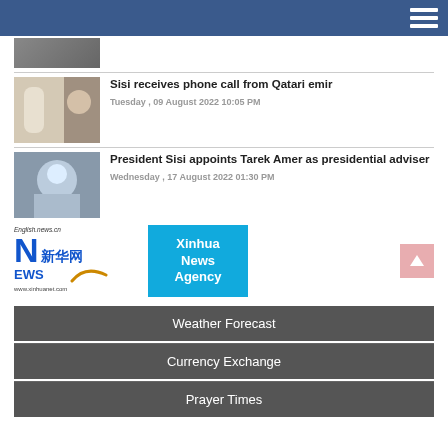Navigation header bar
[Figure (photo): Partial news thumbnail visible at top of page]
Sisi receives phone call from Qatari emir
Tuesday , 09 August 2022 10:05 PM
President Sisi appoints Tarek Amer as presidential adviser
Wednesday , 17 August 2022 01:30 PM
[Figure (logo): Xinhua News Agency logo with English.news.cn and www.xinhuanet.com text]
Weather Forecast
Currency Exchange
Prayer Times